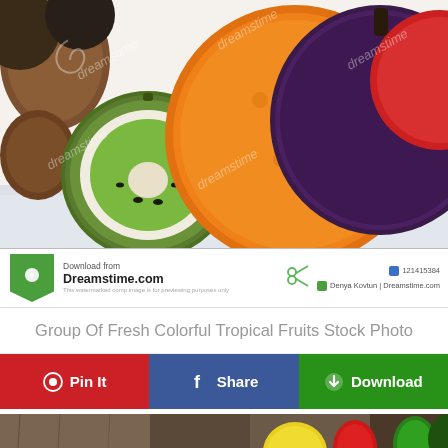[Figure (photo): Stock photo of a group of fresh colorful tropical fruits including kiwi (halved), oranges, a dark purple passion fruit or mangosteen, and pomegranate on a light wooden surface. Multiple Dreamstime watermarks overlay the image in a spiral/swirl logo pattern.]
[Figure (logo): Dreamstime.com download attribution bar with green shield/badge logo containing a spiral icon, text 'Download from Dreamstime.com', a small watermark disclaimer, green scissors icon, image ID 121415384, and credit 'Denya Kovtun | Dreamstime.com']
Group Of Fresh Colorful Tropical Fruits Stock Photo
Pin It
Share
Download
[Figure (photo): Partial view of a second stock photo showing fruits and vegetables on a rustic wooden surface — visible are a lemon, red pepper, green pepper, and other produce.]